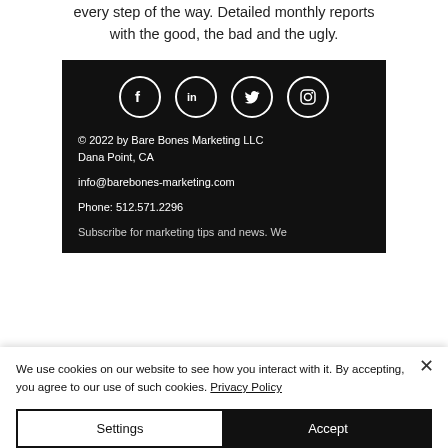every step of the way. Detailed monthly reports with the good, the bad and the ugly.
[Figure (infographic): Dark footer block with social media icons (Facebook, LinkedIn, Twitter, Instagram), copyright text, address, email, phone, and subscribe text on black background]
We use cookies on our website to see how you interact with it. By accepting, you agree to our use of such cookies. Privacy Policy
Settings
Accept